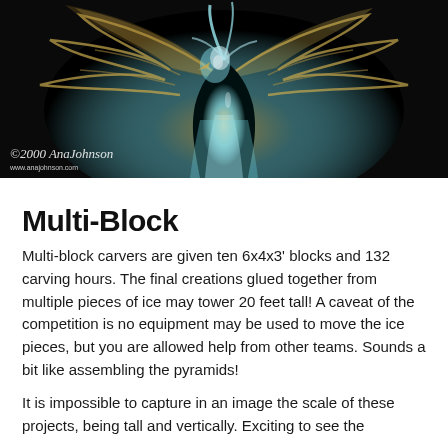[Figure (photo): Ice sculpture of an eagle or bird in flight, photographed against a black background. The sculpture is translucent with golden/amber lighting highlights. Photographer watermark reads '©2000 AnaJohnson www.anajohnson.com' in bottom left corner.]
Multi-Block
Multi-block carvers are given ten 6x4x3' blocks and 132 carving hours. The final creations glued together from multiple pieces of ice may tower 20 feet tall! A caveat of the competition is no equipment may be used to move the ice pieces, but you are allowed help from other teams. Sounds a bit like assembling the pyramids!
It is impossible to capture in an image the scale of these projects, being tall and vertically. Exciting to see the...